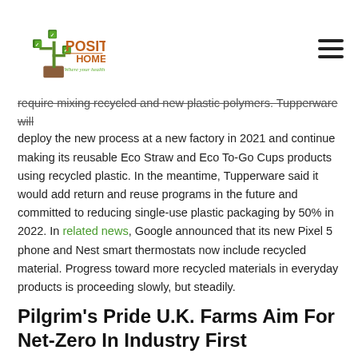[Figure (logo): Positive Homes logo with green tree/plant icon and orange/green text reading 'POSITIVE HOMES – Where your health matters']
require mixing recycled and new plastic polymers. Tupperware will deploy the new process at a new factory in 2021 and continue making its reusable Eco Straw and Eco To-Go Cups products using recycled plastic. In the meantime, Tupperware said it would add return and reuse programs in the future and committed to reducing single-use plastic packaging by 50% in 2022. In related news, Google announced that its new Pixel 5 phone and Nest smart thermostats now include recycled material. Progress toward more recycled materials in everyday products is proceeding slowly, but steadily.
Pilgrim's Pride U.K. Farms Aim For Net-Zero In Industry First
It may not achieve its goals, but Pilgrim's Pride Ltd, the British arm of the well-known U.S. brand, has committed to reducing its pig farming footprint to zero by 2030. Meat production, which is justifiably under attack for its massive contribution of 14.5% of global annual CO2 emissions, can be much more sustainable, Food Navigator reports. Pilgrim's Pride argues that by combining efficiency and regenerative